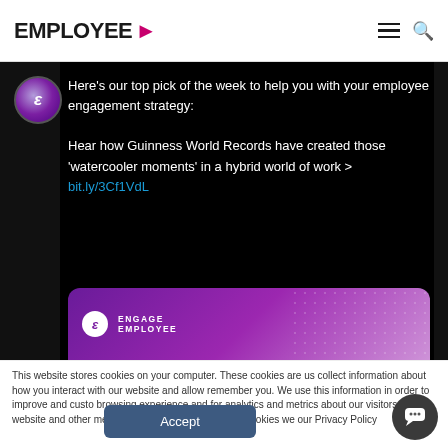EMPLOYEE >
[Figure (screenshot): Dark-background tweet/social card from Engage Employee showing text about employee engagement strategy and Guinness World Records watercooler moments in a hybrid world of work, with a link bit.ly/3Cf1VdL, and a purple branded card at the bottom.]
This website stores cookies on your computer. These cookies are us collect information about how you interact with our website and allow remember you. We use this information in order to improve and custo browsing experience and for analytics and metrics about our visitors this website and other media. To find out more about the cookies we our Privacy Policy